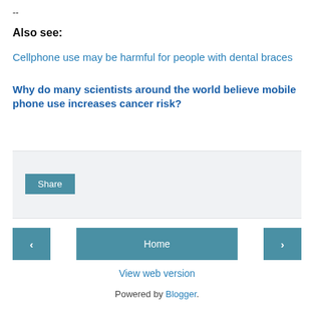--
Also see:
Cellphone use may be harmful for people with dental braces
Why do many scientists around the world believe mobile phone use increases cancer risk?
[Figure (other): Share button widget area with light gray background]
Share
< Home >
View web version
Powered by Blogger.